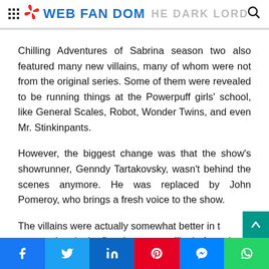WEB FAN DOM — HE DARK LORD YET
Chilling Adventures of Sabrina season two also featured many new villains, many of whom were not from the original series. Some of them were revealed to be running things at the Powerpuff girls' school, like General Scales, Robot, Wonder Twins, and even Mr. Stinkinpants.
However, the biggest change was that the show's showrunner, Genndy Tartakovsky, wasn't behind the scenes anymore. He was replaced by John Pomeroy, who brings a fresh voice to the show.
The villains were actually somewhat better in this season than in the first, because unlike before, the